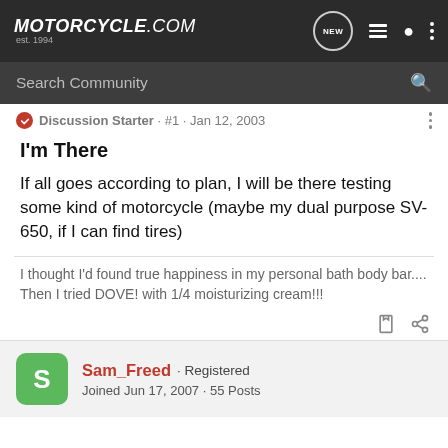Motorcycle.com est.1994 — navigation bar with NEW, list, user, and menu icons
Search Community
Discussion Starter · #1 · Jan 12, 2003
I'm There
If all goes according to plan, I will be there testing some kind of motorcycle (maybe my dual purpose SV-650, if I can find tires)
I thought I'd found true happiness in my personal bath body bar.... Then I tried DOVE! with 1/4 moisturizing cream!!!
Sam_Freed · Registered
Joined Jun 17, 2007 · 55 Posts